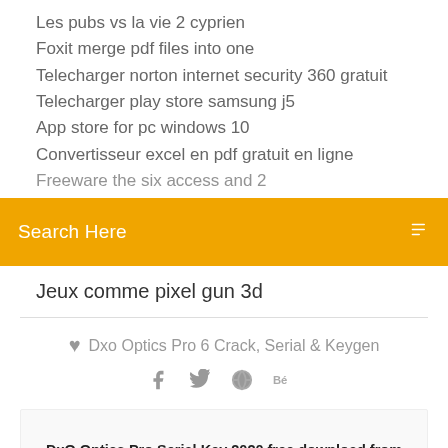Les pubs vs la vie 2 cyprien
Foxit merge pdf files into one
Telecharger norton internet security 360 gratuit
Telecharger play store samsung j5
App store for pc windows 10
Convertisseur excel en pdf gratuit en ligne
Freeware the six access and 2
[Figure (screenshot): Orange search bar with text 'Search Here' and a search icon on the right]
Jeux comme pixel gun 3d
♥  Dxo Optics Pro 6 Crack, Serial & Keygen
[Figure (infographic): Social media icons row: Facebook, Twitter, a circle icon, Behance]
DxO Optics Pro Serial Key 2020 free download from now, from your pictures cheers to DxO Optics Pro 11,